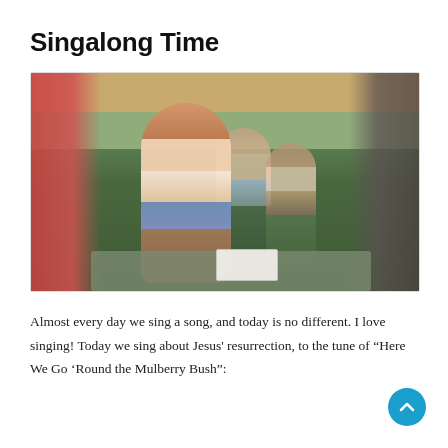Singalong Time
[Figure (photo): Children in a classroom singing and doing hand motions. A girl in the center wearing a pink t-shirt and a watch is smiling and clapping. Other children are visible in the background. Blurry children frame the photo on the left and right.]
Almost every day we sing a song, and today is no different. I love singing! Today we sing about Jesus' resurrection, to the tune of “Here We Go ‘Round the Mulberry Bush”: